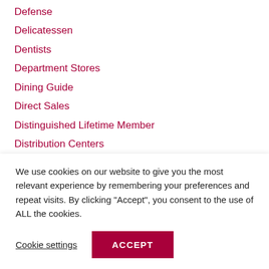Defense
Delicatessen
Dentists
Department Stores
Dining Guide
Direct Sales
Distinguished Lifetime Member
Distribution Centers
Distributors
Dog Grooming
Doing Business; Education
Domestic Violence Services
We use cookies on our website to give you the most relevant experience by remembering your preferences and repeat visits. By clicking "Accept", you consent to the use of ALL the cookies.
Cookie settings  ACCEPT